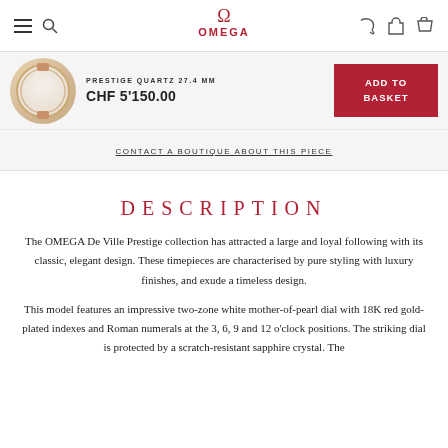OMEGA
PRESTIGE QUARTZ 27.4 MM
CHF 5'150.00
ADD TO BASKET
CONTACT A BOUTIQUE ABOUT THIS PIECE
DESCRIPTION
The OMEGA De Ville Prestige collection has attracted a large and loyal following with its classic, elegant design. These timepieces are characterised by pure styling with luxury finishes, and exude a timeless design.
This model features an impressive two-zone white mother-of-pearl dial with 18K red gold-plated indexes and Roman numerals at the 3, 6, 9 and 12 o'clock positions. The striking dial is protected by a scratch-resistant sapphire crystal. The